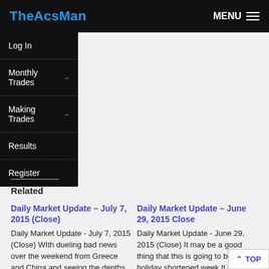TheAcsMan | MENU
Log In
Monthly Trades
Making Trades
Results
Register
Related
Daily Market Update – July 7, 2015 (Close)
Daily Market Update - July 7, 2015 (Close) WIth dueling bad news over the weekend from Greece and China and seeing the depths
July 7, 2015
Daily Market Update – June 29, 2015 Close
Daily Market Update - June 29, 2015 (Close) It may be a good thing that this is going to be a holiday shortened week.It may be a
June 29, 2015